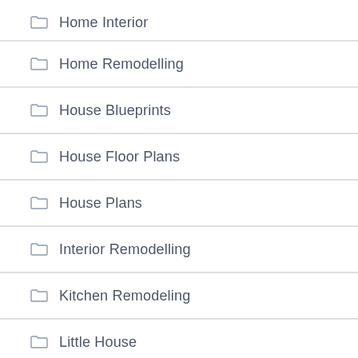Home Interior
Home Remodelling
House Blueprints
House Floor Plans
House Plans
Interior Remodelling
Kitchen Remodeling
Little House